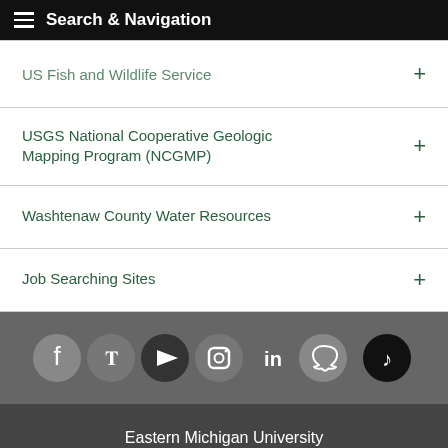Search & Navigation
US Fish and Wildlife Service
USGS National Cooperative Geologic Mapping Program (NCGMP)
Washtenaw County Water Resources
Job Searching Sites
[Figure (infographic): Social media icons row: Facebook, Twitter, YouTube, Instagram, LinkedIn, Snapchat, TikTok]
Eastern Michigan University
Ypsilanti, MI USA 48197 |